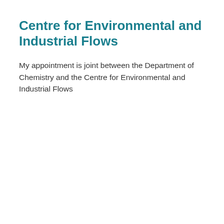Centre for Environmental and Industrial Flows
My appointment is joint between the Department of Chemistry and the Centre for Environmental and Industrial Flows